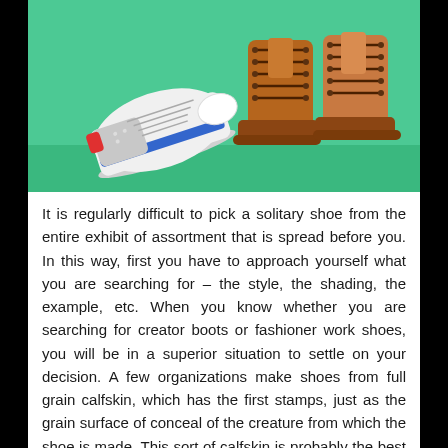[Figure (illustration): Illustration of shoes on a green background: a white sneaker with blue and red accents on the left, and two brown lace-up boots on the right.]
It is regularly difficult to pick a solitary shoe from the entire exhibit of assortment that is spread before you. In this way, first you have to approach yourself what you are searching for – the style, the shading, the example, etc. When you know whether you are searching for creator boots or fashioner work shoes, you will be in a superior situation to settle on your decision. A few organizations make shoes from full grain calfskin, which has the first stamps, just as the grain surface of conceal of the creature from which the shoe is made. This sort of calfskin is probably the best quality, with regards to men's planner